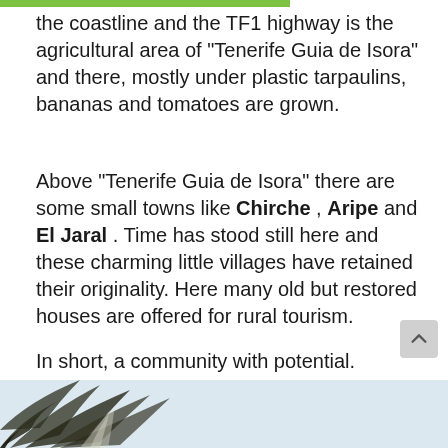the coastline and the TF1 highway is the agricultural area of “Tenerife Guia de Isora” and there, mostly under plastic tarpaulins, bananas and tomatoes are grown.
Above “Tenerife Guia de Isora” there are some small towns like Chirche , Aripe and El Jaral . Time has stood still here and these charming little villages have retained their originality. Here many old but restored houses are offered for rural tourism.
In short, a community with potential.
[Figure (photo): Partial photo at bottom of page showing palm tree leaves against a light sky background]